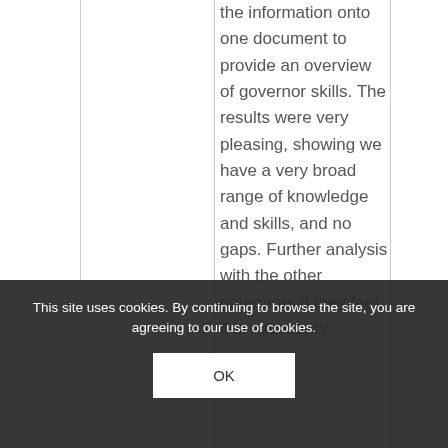the information onto one document to provide an overview of governor skills. The results were very pleasing, showing we have a very broad range of knowledge and skills, and no gaps. Further analysis with the other governors if they feel it is necessary
This site uses cookies. By continuing to browse the site, you are agreeing to our use of cookies.
OK